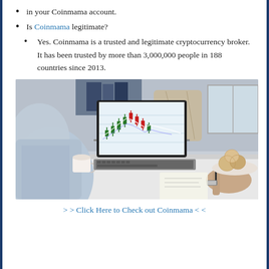in your Coinmama account.
Is Coinmama legitimate?
Yes. Coinmama is a trusted and legitimate cryptocurrency broker. It has been trusted by more than 3,000,000 people in 188 countries since 2013.
[Figure (photo): Person sitting at a desk viewing a stock/crypto trading chart on a laptop screen, holding a pen and writing notes, with a coffee cup and decorative wicker balls on a plate nearby.]
> > Click Here to Check out Coinmama < <